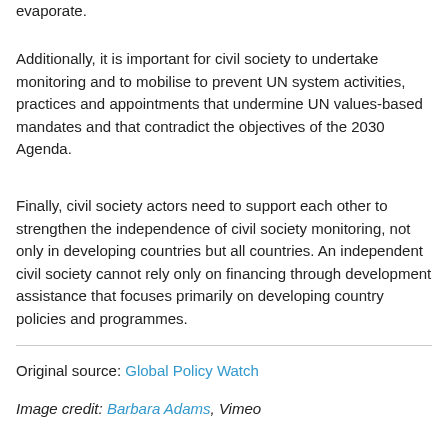evaporate.
Additionally, it is important for civil society to undertake monitoring and to mobilise to prevent UN system activities, practices and appointments that undermine UN values-based mandates and that contradict the objectives of the 2030 Agenda.
Finally, civil society actors need to support each other to strengthen the independence of civil society monitoring, not only in developing countries but all countries. An independent civil society cannot rely only on financing through development assistance that focuses primarily on developing country policies and programmes.
Original source: Global Policy Watch
Image credit: Barbara Adams, Vimeo